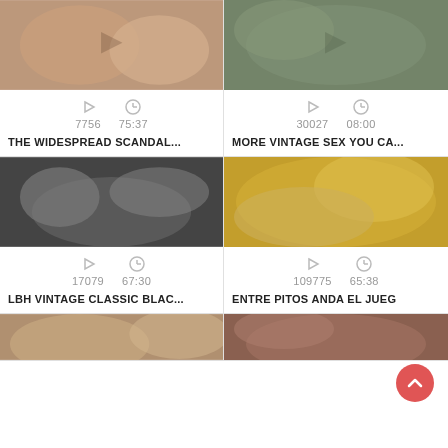[Figure (screenshot): Video thumbnail - vintage film scene, warm tones, people]
7756   75:37
THE WIDESPREAD SCANDAL...
[Figure (screenshot): Video thumbnail - vintage film scene, muted green tones]
30027   08:00
MORE VINTAGE SEX YOU CA...
[Figure (screenshot): Video thumbnail - black and white vintage scene, woman lying]
17079   67:30
LBH VINTAGE CLASSIC BLAC...
[Figure (screenshot): Video thumbnail - blonde woman smiling, gold tones]
109775   65:38
ENTRE PITOS ANDA EL JUEG
[Figure (screenshot): Video thumbnail - partial view, bottom row left]
[Figure (screenshot): Video thumbnail - partial view, bottom row right]